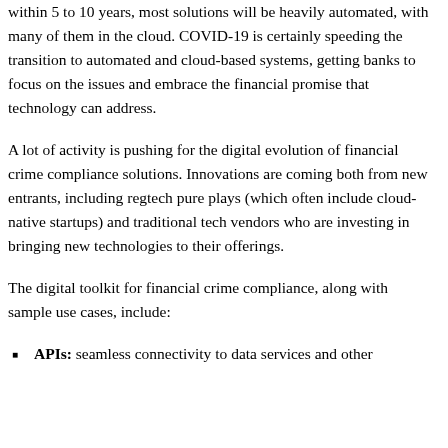within 5 to 10 years, most solutions will be heavily automated, with many of them in the cloud. COVID-19 is certainly speeding the transition to automated and cloud-based systems, getting banks to focus on the issues and embrace the financial promise that technology can address.
A lot of activity is pushing for the digital evolution of financial crime compliance solutions. Innovations are coming both from new entrants, including regtech pure plays (which often include cloud-native startups) and traditional tech vendors who are investing in bringing new technologies to their offerings.
The digital toolkit for financial crime compliance, along with sample use cases, include:
APIs: seamless connectivity to data services and other